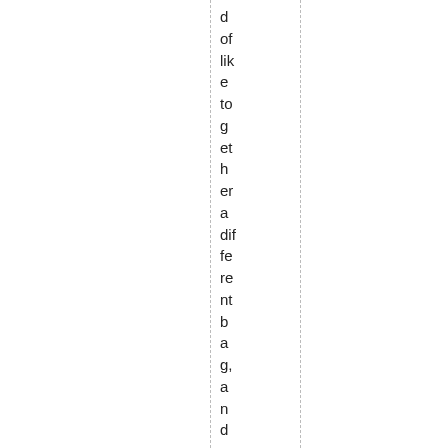d of like to get her a different bag, and maybe a cuff, but th